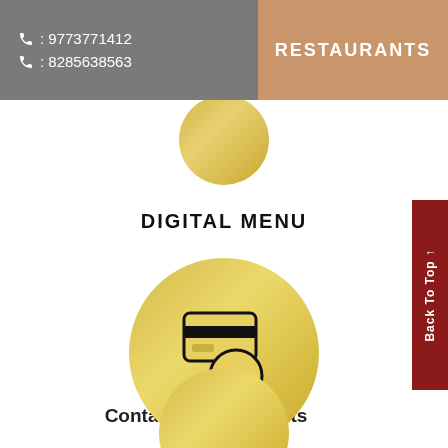📞 : 9773771412
📞 : 8285638563
RESTAURANTS
[Figure (illustration): Partial gold circle at top center, emerging from behind header]
DIGITAL MENU
[Figure (illustration): Large gold circle with contactless payment icon (credit card over NFC/wifi symbol)]
Contactless Payments
[Figure (illustration): Partial gold circle at bottom center]
Back To Top →